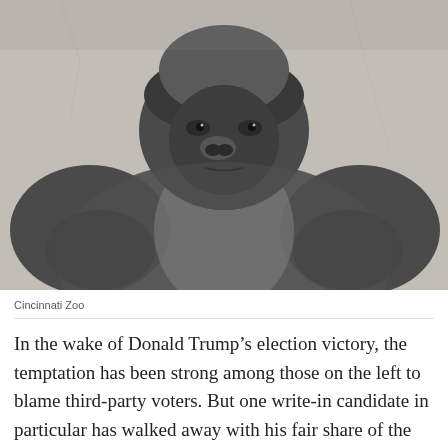[Figure (photo): A close-up photograph of a gorilla sitting and facing the camera, looking directly forward with a calm, stoic expression. The gorilla has gray-brown fur and is photographed against a stone or concrete background.]
Cincinnati Zoo
In the wake of Donald Trump’s election victory, the temptation has been strong among those on the left to blame third-party voters. But one write-in candidate in particular has walked away with his fair share of the blame, at least on social media: